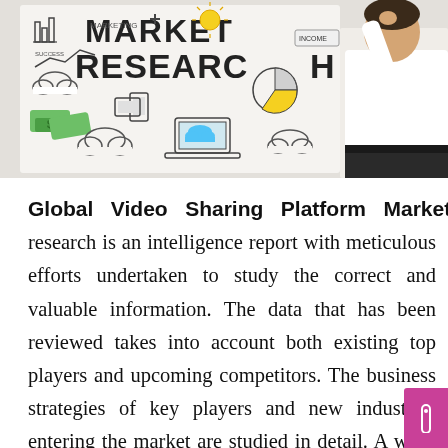[Figure (photo): A man in a white shirt writing 'MARKET RESEARCH' on a whiteboard covered with hand-drawn marketing icons including charts, clouds, devices, pie charts, sun, and money symbols.]
Global Video Sharing Platform Market research is an intelligence report with meticulous efforts undertaken to study the correct and valuable information. The data that has been reviewed takes into account both existing top players and upcoming competitors. The business strategies of key players and new industries entering the market are studied in detail. A well-explained SWOT analysis, revenue share and contact information are shared in this report